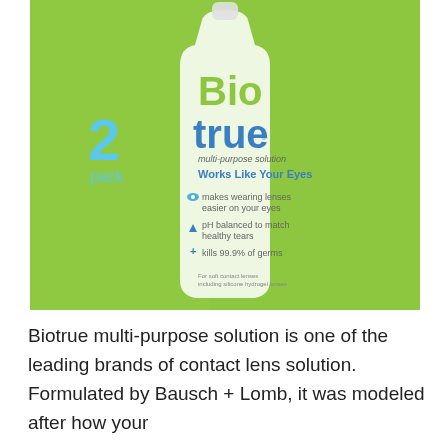[Figure (photo): Biotrue multi-purpose solution 2-pack product box on a green background. The box shows a bottle with 'Bio' in green and 'true' in blue, labeled 'multi-purpose solution', 'Works Like Your Eyes', with bullet points: makes wearing lenses easier on your eyes, pH balanced to match healthy tears, kills 99.9% of germs.]
Biotrue multi-purpose solution is one of the leading brands of contact lens solution. Formulated by Bausch + Lomb, it was modeled after how your